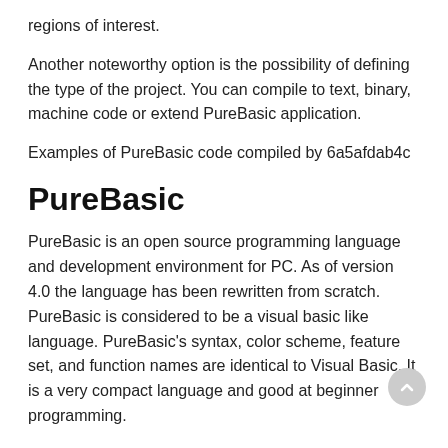regions of interest.
Another noteworthy option is the possibility of defining the type of the project. You can compile to text, binary, machine code or extend PureBasic application.
Examples of PureBasic code compiled by 6a5afdab4c
PureBasic
PureBasic is an open source programming language and development environment for PC. As of version 4.0 the language has been rewritten from scratch. PureBasic is considered to be a visual basic like language. PureBasic's syntax, color scheme, feature set, and function names are identical to Visual Basic. It is a very compact language and good at beginner programming.